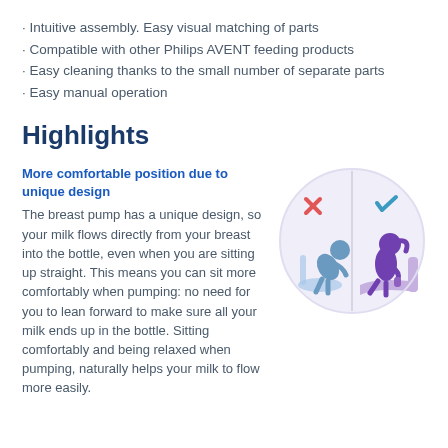Intuitive assembly. Easy visual matching of parts
Compatible with other Philips AVENT feeding products
Easy cleaning thanks to the small number of separate parts
Easy manual operation
Highlights
More comfortable position due to unique design
The breast pump has a unique design, so your milk flows directly from your breast into the bottle, even when you are sitting up straight. This means you can sit more comfortably when pumping: no need for you to lean forward to make sure all your milk ends up in the bottle. Sitting comfortably and being relaxed when pumping, naturally helps your milk to flow more easily.
[Figure (illustration): Circular illustration showing two halves: left half shows a person leaning forward with an X mark (incorrect posture), right half shows a person sitting upright comfortably with a check mark (correct posture). Colors are purple/blue and lavender.]